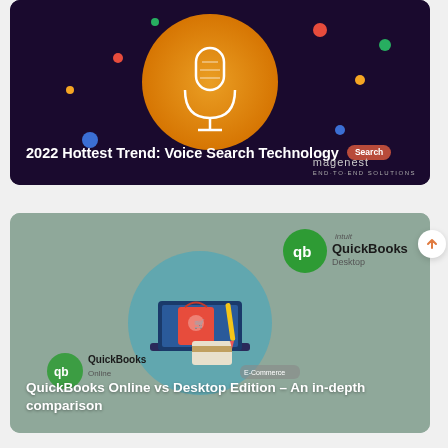[Figure (illustration): Dark purple/navy banner card with a glowing orange circle containing a microphone icon, colorful dots scattered around, red 'Search' badge, title '2022 Hottest Trend: Voice Search Technology', and 'magenest' logo in bottom right]
[Figure (illustration): Muted teal/grey banner card with Intuit QuickBooks Desktop logo in top right, illustration of laptop with shopping bag, QuickBooks Online logo overlay, title 'QuickBooks Online vs Desktop Edition - An in-depth comparison']